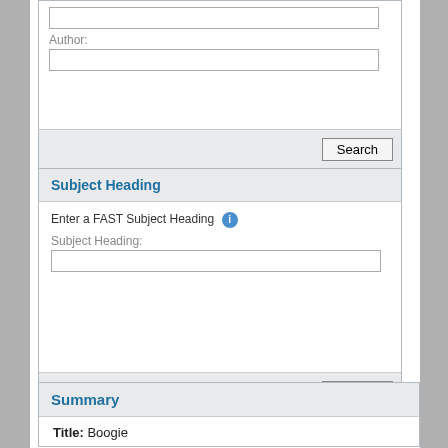Author:
Subject Heading
Enter a FAST Subject Heading
Subject Heading:
Summary
Title: Boogie